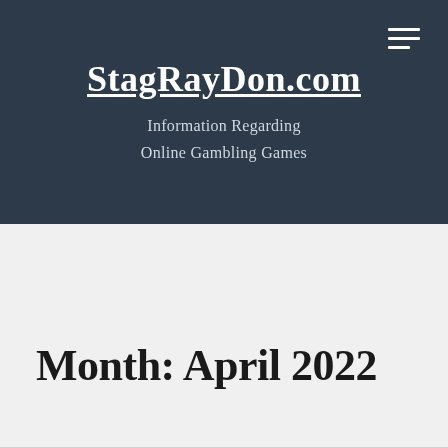StagRayDon.com
Information Regarding Online Gambling Games
Month: April 2022